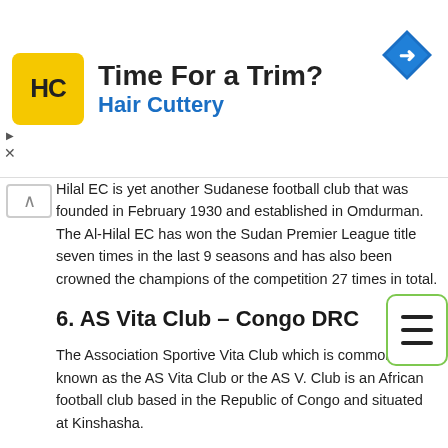[Figure (infographic): Advertisement banner for Hair Cuttery with yellow logo, headline 'Time For a Trim?', blue subline 'Hair Cuttery', and a blue navigation diamond icon on the right. Close/skip controls on the left.]
Hilal EC is yet another Sudanese football club that was founded in February 1930 and established in Omdurman. The Al-Hilal EC has won the Sudan Premier League title seven times in the last 9 seasons and has also been crowned the champions of the competition 27 times in total.
6. AS Vita Club – Congo DRC
The Association Sportive Vita Club which is commonly known as the AS Vita Club or the AS V. Club is an African football club based in the Republic of Congo and situated at Kinshasha.
AS Vita Club was founded in the year 1935 and has since been at the top front winning the Linafoot 12 times and the Coupe du Congo nine times. AS V.